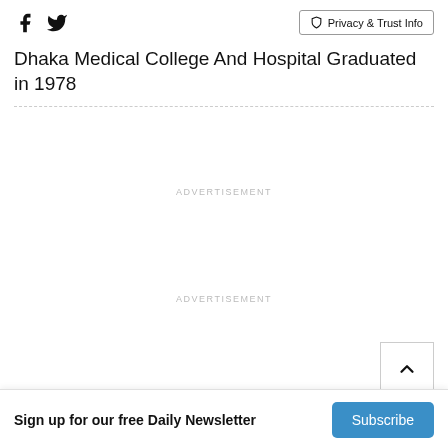Social icons: Facebook, Twitter | Privacy & Trust Info
Dhaka Medical College And Hospital Graduated in 1978
ADVERTISEMENT
ADVERTISEMENT
Sign up for our free Daily Newsletter